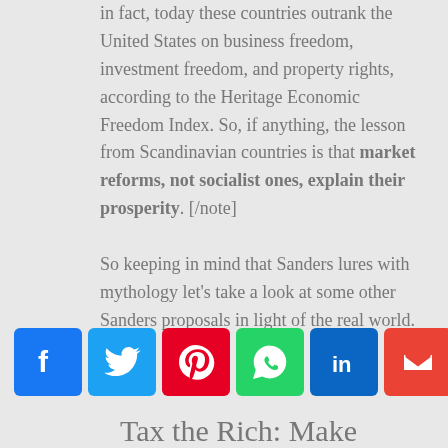in fact, today these countries outrank the United States on business freedom, investment freedom, and property rights, according to the Heritage Economic Freedom Index. So, if anything, the lesson from Scandinavian countries is that market reforms, not socialist ones, explain their prosperity. [/note]
So keeping in mind that Sanders lures with mythology let's take a look at some other Sanders proposals in light of the real world.
[Figure (other): Social media sharing icons: Facebook, Twitter, Pinterest, WhatsApp, LinkedIn, Gmail, Share+]
Tax the Rich: Make